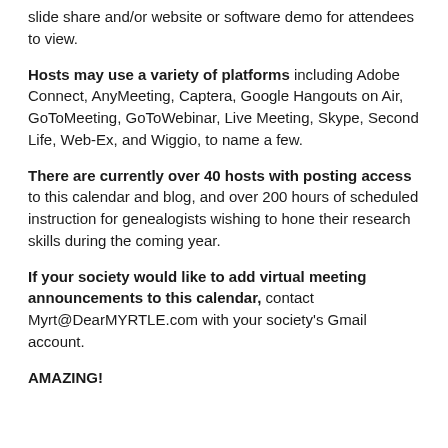slide share and/or website or software demo for attendees to view.
Hosts may use a variety of platforms including Adobe Connect, AnyMeeting, Captera, Google Hangouts on Air, GoToMeeting, GoToWebinar, Live Meeting, Skype, Second Life, Web-Ex, and Wiggio, to name a few.
There are currently over 40 hosts with posting access to this calendar and blog, and over 200 hours of scheduled instruction for genealogists wishing to hone their research skills during the coming year.
If your society would like to add virtual meeting announcements to this calendar, contact Myrt@DearMYRTLE.com with your society's Gmail account.
AMAZING!